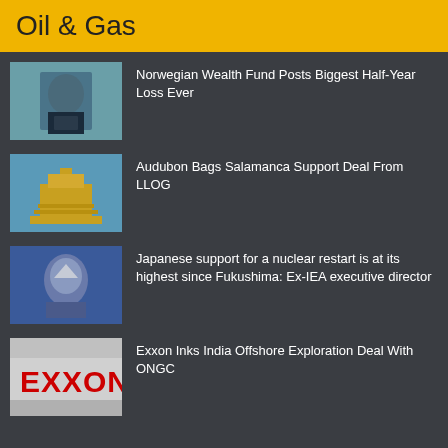Oil & Gas
Norwegian Wealth Fund Posts Biggest Half-Year Loss Ever
Audubon Bags Salamanca Support Deal From LLOG
Japanese support for a nuclear restart is at its highest since Fukushima: Ex-IEA executive director
Exxon Inks India Offshore Exploration Deal With ONGC